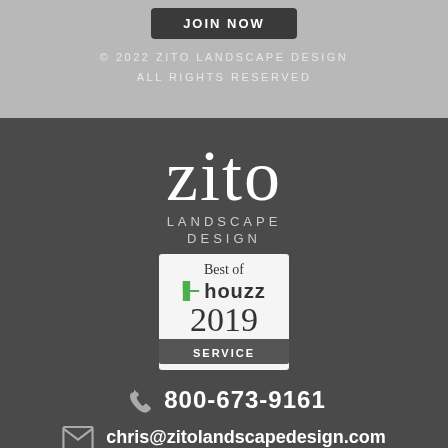[Figure (logo): JOIN NOW button in dark rounded rectangle]
© 2022 ZITO LANDSCAPE DESIGN
ALL RIGHTS RESERVED
[Figure (logo): Zito Landscape Design logo with company name in large serif font, plus Best of Houzz 2019 Service badge]
800-673-9161
chris@zitolandscapedesign.com